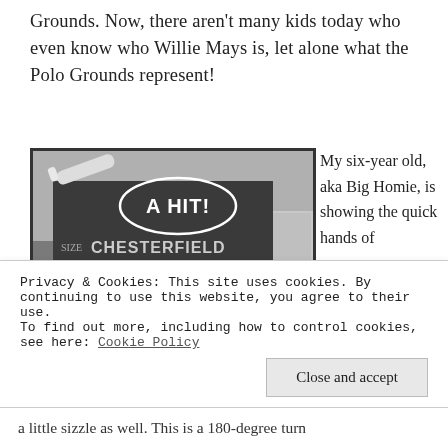Grounds. Now, there aren't many kids today who even know who Willie Mays is, let alone what the Polo Grounds represent!
[Figure (photo): Black and white photograph of a baseball stadium showing a large Chesterfield cigarette advertisement billboard reading 'A HIT! SIZE CHESTERFIELD' with a speech bubble and a cigarette graphic, with stadium crowds and buildings visible below.]
My six-year old, aka Big Homie, is showing the quick hands of
Privacy & Cookies: This site uses cookies. By continuing to use this website, you agree to their use.
To find out more, including how to control cookies, see here: Cookie Policy
Close and accept
a little sizzle as well. This is a 180-degree turn